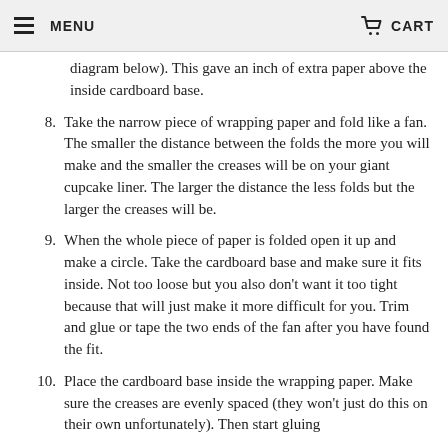MENU | CART
piece of wrapping paper and folding it (like lines along the dotted lines in the little diagram below). This gave an inch of extra paper above the inside cardboard base.
8. Take the narrow piece of wrapping paper and fold like a fan. The smaller the distance between the folds the more you will make and the smaller the creases will be on your giant cupcake liner. The larger the distance the less folds but the larger the creases will be.
9. When the whole piece of paper is folded open it up and make a circle. Take the cardboard base and make sure it fits inside. Not too loose but you also don’t want it too tight because that will just make it more difficult for you. Trim and glue or tape the two ends of the fan after you have found the fit.
10. Place the cardboard base inside the wrapping paper. Make sure the creases are evenly spaced (they won’t just do this on their own unfortunately). Then start gluing